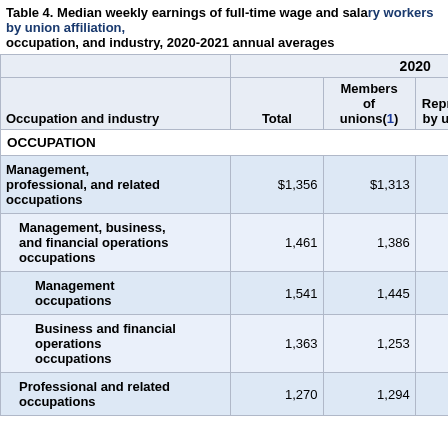Table 4. Median weekly earnings of full-time wage and salary workers by union affiliation, occupation, and industry, 2020-2021 annual averages
| Occupation and industry | Total | Members of unions(1) | Represented by unions(2) | Not represented by unions |
| --- | --- | --- | --- | --- |
| OCCUPATION |  |  |  |  |
| Management, professional, and related occupations | $1,356 | $1,313 | $1,294 | $1,... |
| Management, business, and financial operations occupations | 1,461 | 1,386 | 1,378 | 1,... |
| Management occupations | 1,541 | 1,445 | 1,440 | 1,... |
| Business and financial operations occupations | 1,363 | 1,253 | 1,254 | 1,... |
| Professional and related occupations | 1,270 | 1,294 | 1,271 | 1,... |